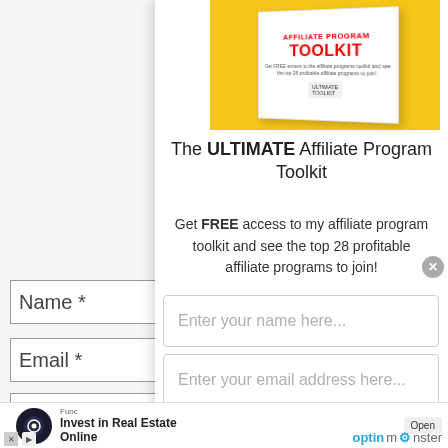[Figure (illustration): White box product image labeled 'ULTIMATE Affiliate Program TOOLKIT' on yellow background]
The ULTIMATE Affiliate Program Toolkit
Get FREE access to my affiliate program toolkit and see the top 28 profitable affiliate programs to join!
Enter your name here...
Enter your email address here...
Yes! Send Me The FREE PDF
Name *
Email *
No compatible source was found for this media.
[Figure (screenshot): Bottom advertisement banner: Fundrise - Invest in Real Estate Online, with OptinMonster logo]
Invest in Real Estate Online
optinmonster